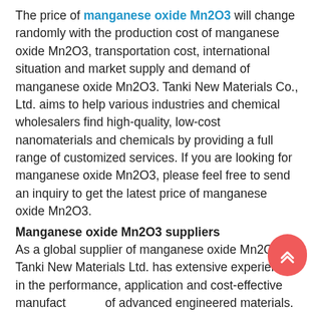The price of manganese oxide Mn2O3 will change randomly with the production cost of manganese oxide Mn2O3, transportation cost, international situation and market supply and demand of manganese oxide Mn2O3. Tanki New Materials Co., Ltd. aims to help various industries and chemical wholesalers find high-quality, low-cost nanomaterials and chemicals by providing a full range of customized services. If you are looking for manganese oxide Mn2O3, please feel free to send an inquiry to get the latest price of manganese oxide Mn2O3.
Manganese oxide Mn2O3 suppliers
As a global supplier of manganese oxide Mn2O3, Tanki New Materials Ltd. has extensive experience in the performance, application and cost-effective manufacturing of advanced engineered materials. The company has successfully developed a series of powder materials (titanium oxide, silicon oxide, titanium oxide, etc.) high